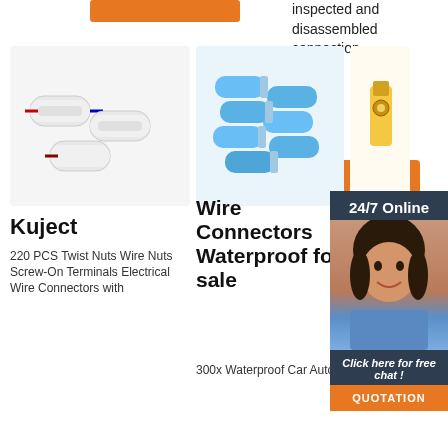inspected and disassembled connection.
[Figure (photo): Orange 'Get' button (partially visible)]
[Figure (photo): 24/7 Online chat support panel with female agent wearing headset, 'Click here for free chat!' and QUOTATION button]
[Figure (photo): Kuject twist nut wire connectors product image]
[Figure (photo): Waterproof wire connectors product image - blue connectors bundle]
[Figure (photo): Connectors product image - yellow terminal]
Kuject
220 PCS Twist Nuts Wire Nuts Screw-On Terminals Electrical Wire Connectors with
Wire Connectors Waterproof for sale
300x Waterproof Car Auto
CO
CONNECTORS
41 Results Found.
CONNECTORS
41 Results Found.
Quality terminal blocks, heavy